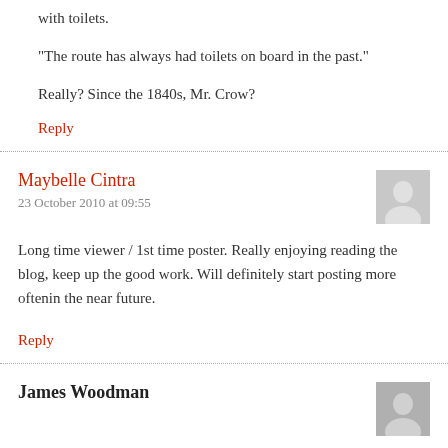with toilets.
"The route has always had toilets on board in the past."
Really? Since the 1840s, Mr. Crow?
Reply
Maybelle Cintra
23 October 2010 at 09:55
Long time viewer / 1st time poster. Really enjoying reading the blog, keep up the good work. Will definitely start posting more oftenin the near future.
Reply
James Woodman